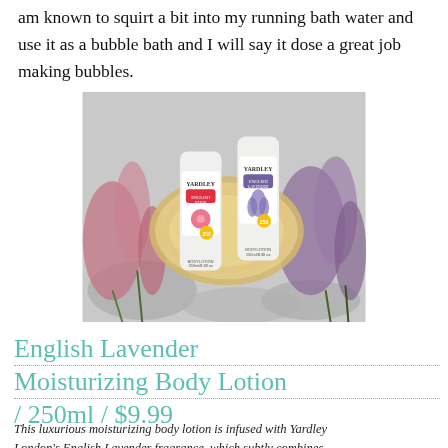am known to squirt a bit into my running bath water and use it as a bubble bath and I will say it dose a great job making bubbles.
[Figure (photo): Two Yardley body lotion bottles (English Rose and English Lavender, 250ml each) placed in a woven basket surrounded by pink and purple heather flowers.]
English Lavender Moisturizing Body Lotion / 250ml / $9.99
This luxurious moisturizing body lotion is infused with Yardley London's English Lavender fragrance, which subtly combines